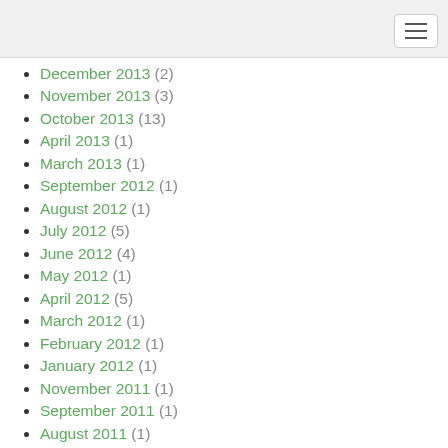December 2013 (2)
November 2013 (3)
October 2013 (13)
April 2013 (1)
March 2013 (1)
September 2012 (1)
August 2012 (1)
July 2012 (5)
June 2012 (4)
May 2012 (1)
April 2012 (5)
March 2012 (1)
February 2012 (1)
January 2012 (1)
November 2011 (1)
September 2011 (1)
August 2011 (1)